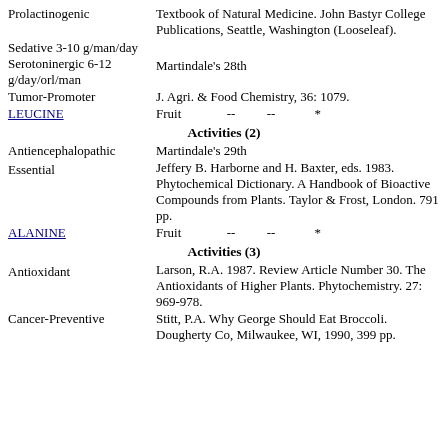Prolactinogenic — Textbook of Natural Medicine. John Bastyr College Publications, Seattle, Washington (Looseleaf).
Sedative 3-10 g/man/day
Serotoninergic 6-12 g/day/orl/man — Martindale's 28th
Tumor-Promoter — J. Agri. & Food Chemistry, 36: 1079.
LEUCINE — Fruit -- -- *
Activities (2)
Antiencephalopathic — Martindale's 29th
Essential — Jeffery B. Harborne and H. Baxter, eds. 1983. Phytochemical Dictionary. A Handbook of Bioactive Compounds from Plants. Taylor & Frost, London. 791 pp.
ALANINE — Fruit -- -- *
Activities (3)
Antioxidant — Larson, R.A. 1987. Review Article Number 30. The Antioxidants of Higher Plants. Phytochemistry. 27: 969-978.
Cancer-Preventive — Stitt, P.A. Why George Should Eat Broccoli. Dougherty Co, Milwaukee, WI, 1990, 399 pp.